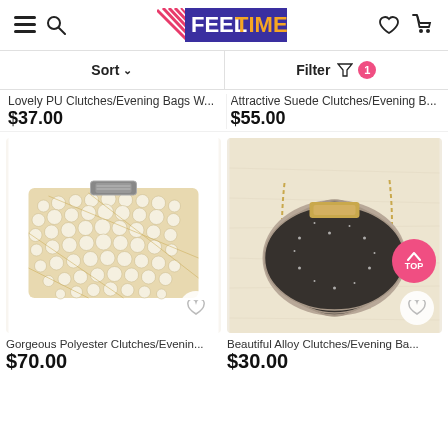FEELTIMES
Sort  |  Filter 1
Lovely PU Clutches/Evening Bags W...
$37.00
Attractive Suede Clutches/Evening B...
$55.00
[Figure (photo): Pearl-encrusted rectangular clutch bag with diamante clasp on white background]
Gorgeous Polyester Clutches/Evenin...
$70.00
[Figure (photo): Round glittery clutch bag with gold chain strap on cream fur background]
Beautiful Alloy Clutches/Evening Ba...
$30.00